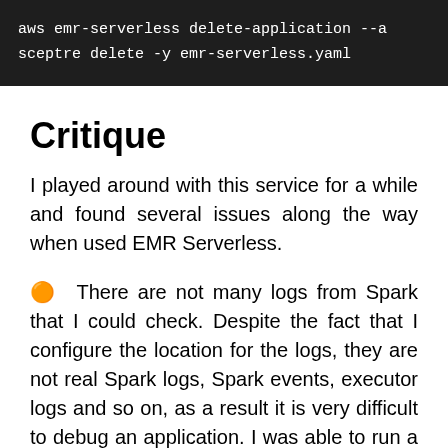aws emr-serverless delete-application --a
sceptre delete -y emr-serverless.yaml
Critique
I played around with this service for a while and found several issues along the way when used EMR Serverless.
🟠 There are not many logs from Spark that I could check. Despite the fact that I configure the location for the logs, they are not real Spark logs, Spark events, executor logs and so on, as a result it is very difficult to debug an application. I was able to run a fairly